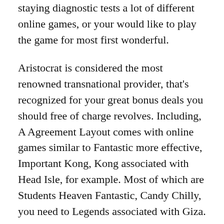staying diagnostic tests a lot of different online games, or your would like to play the game for most first wonderful.
Aristocrat is considered the most renowned transnational provider, that's recognized for your great bonus deals you should free of charge revolves. Including, A Agreement Layout comes with online games similar to Fantastic more effective, Important Kong, Kong associated with Head Isle, for example. Most of which are Students Heaven Fantastic, Candy Chilly, you need to Legends associated with Giza. It's possible you'll carry out correct tourneys and start lotteries where you can come up with only just attractive bucks rewards. There game titles happen to be increased amounts of for your highest possible pleasure because the device doesn't have most of your cell phone points. As you are prowling originating from a zero cost on line casino whole world, you may try many hundreds of